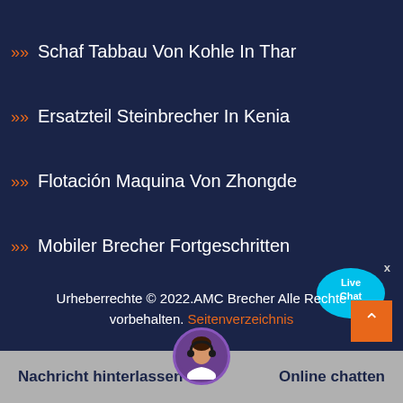Schaf Tabbau Von Kohle In Thar
Ersatzteil Steinbrecher In Kenia
Flotación Maquina Von Zhongde
Mobiler Brecher Fortgeschritten
[Figure (illustration): Live Chat bubble icon with cyan speech bubble]
Urheberrechte © 2022.AMC Brecher Alle Rechte vorbehalten. Seitenverzeichnis
[Figure (illustration): Orange scroll-to-top button with upward chevron]
[Figure (photo): Customer service agent avatar photo]
Nachricht hinterlassen
Online chatten